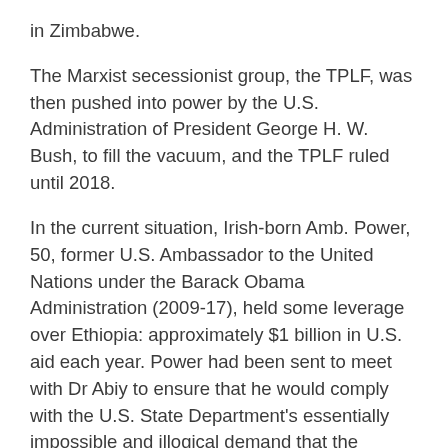in Zimbabwe.
The Marxist secessionist group, the TPLF, was then pushed into power by the U.S. Administration of President George H. W. Bush, to fill the vacuum, and the TPLF ruled until 2018.
In the current situation, Irish-born Amb. Power, 50, former U.S. Ambassador to the United Nations under the Barack Obama Administration (2009-17), held some leverage over Ethiopia: approximately $1 billion in U.S. aid each year. Power had been sent to meet with Dr Abiy to ensure that he would comply with the U.S. State Department's essentially impossible and illogical demand that the Ethiopian Government cease combat operations against the TPLF.
The TPLF had been in control of the Ethiopian Government from 1990 until 2018, when it collapsed in a mire of corruption and leadership squabbles, after